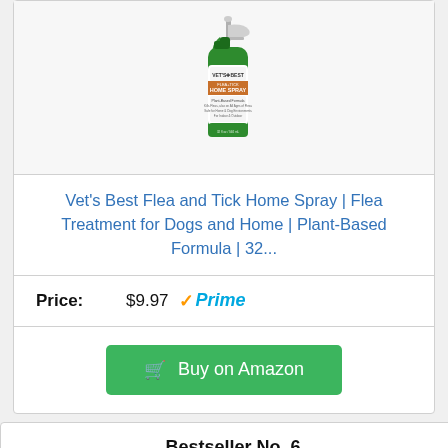[Figure (photo): Vet's Best Flea and Tick Home Spray product bottle with green and white design and orange label band]
Vet's Best Flea and Tick Home Spray | Flea Treatment for Dogs and Home | Plant-Based Formula | 32...
Price: $9.97 Prime
Buy on Amazon
Bestseller No. 6